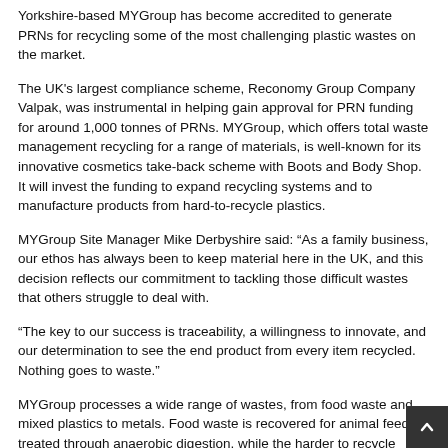Yorkshire-based MYGroup has become accredited to generate PRNs for recycling some of the most challenging plastic wastes on the market.
The UK's largest compliance scheme, Reconomy Group Company Valpak, was instrumental in helping gain approval for PRN funding for around 1,000 tonnes of PRNs. MYGroup, which offers total waste management recycling for a range of materials, is well-known for its innovative cosmetics take-back scheme with Boots and Body Shop. It will invest the funding to expand recycling systems and to manufacture products from hard-to-recycle plastics.
MYGroup Site Manager Mike Derbyshire said: “As a family business, our ethos has always been to keep material here in the UK, and this decision reflects our commitment to tackling those difficult wastes that others struggle to deal with.
“The key to our success is traceability, a willingness to innovate, and our determination to see the end product from every item recycled. Nothing goes to waste.”
MYGroup processes a wide range of wastes, from food waste and mixed plastics to metals. Food waste is recovered for animal feed or treated through anaerobic digestion, while the harder to recycle plastics, such as multi-layer films and contaminated plastic packaging are manufactured into hoarding board, furniture or even school equipment and Christmas trees for shop display. The hoarding board is available to Reconomy’s construction